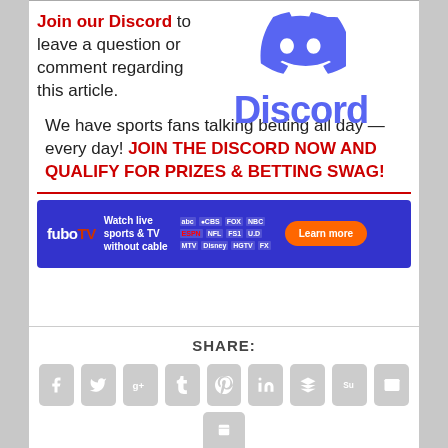Join our Discord to leave a question or comment regarding this article. We have sports fans talking betting all day — every day! JOIN THE DISCORD NOW AND QUALIFY FOR PRIZES & BETTING SWAG!
[Figure (logo): Discord logo: blue controller icon and blue wordmark 'Discord']
[Figure (infographic): FuboTV advertisement banner: 'Watch live sports & TV without cable' with channel logos and Learn more button]
SHARE:
[Figure (infographic): Social share icons: Facebook, Twitter, Google+, Tumblr, Pinterest, LinkedIn, Buffer, StumbleUpon, Email, and a partial icon at bottom]